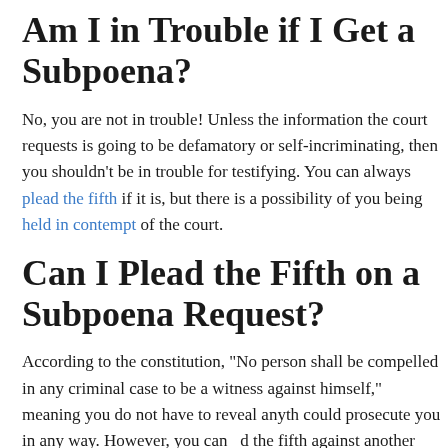Am I in Trouble if I Get a Subpoena?
No, you are not in trouble! Unless the information the court requests is going to be defamatory or self-incriminating, then you shouldn't be in trouble for testifying. You can always plead the fifth if it is, but there is a possibility of you being held in contempt of the court.
Can I Plead the Fifth on a Subpoena Request?
According to the constitution, “No person shall be compelled in any criminal case to be a witness against himself,” meaning you do not have to reveal anyth could prosecute you in any way. However, you can d the fifth against another person.